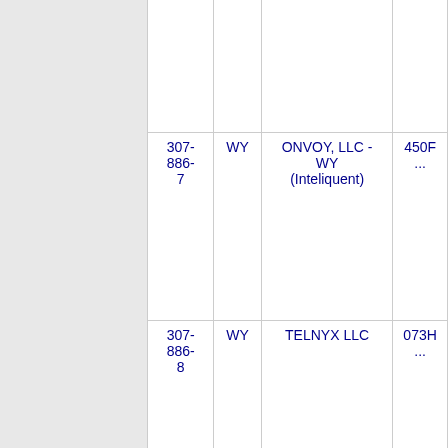|  | Phone | State | Company | Code |
| --- | --- | --- | --- | --- |
|  |  |  |  |  |
|  | 307-886-7 | WY | ONVOY, LLC - WY (Inteliquent) | 450F ... |
|  | 307-886-8 | WY | TELNYX LLC | 073H ... |
|  | 307-886-... | WY | QWEST CORPORATION | 9636 ... |